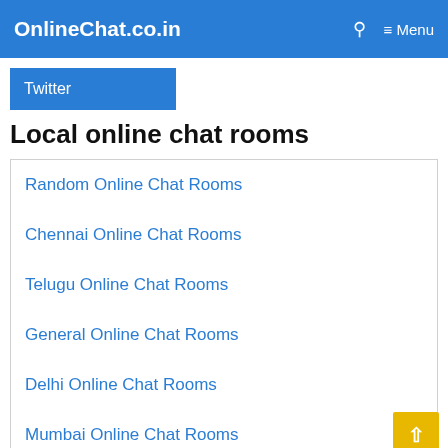OnlineChat.co.in  🔍  ≡ Menu
Twitter
Local online chat rooms
Random Online Chat Rooms
Chennai Online Chat Rooms
Telugu Online Chat Rooms
General Online Chat Rooms
Delhi Online Chat Rooms
Mumbai Online Chat Rooms
Calcutta Online Chat Rooms